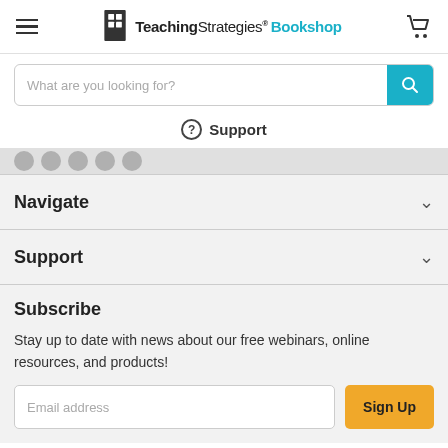Teaching Strategies Bookshop
What are you looking for?
Support
Navigate
Support
Subscribe
Stay up to date with news about our free webinars, online resources, and products!
Email address
Sign Up